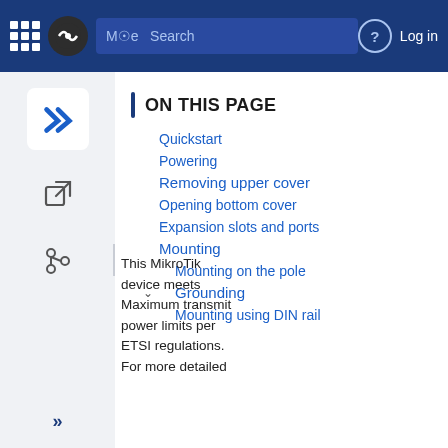MikroTik | Mode | Search | ? | Log in
ON THIS PAGE
Quickstart
Powering
Removing upper cover
Opening bottom cover
Expansion slots and ports
Mounting
Mounting on the pole
Grounding
Mounting using DIN rail
This MikroTik device meets Maximum transmit power limits per ETSI regulations. For more detailed